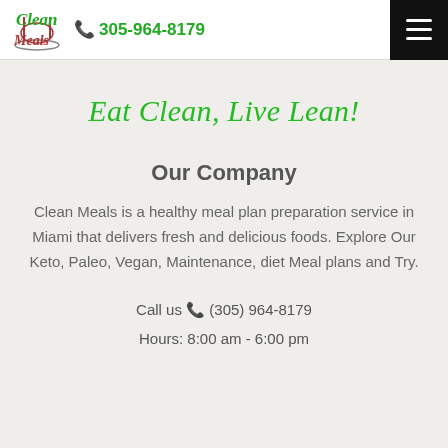Clean Meals logo | 305-964-8179
Eat Clean, Live Lean!
Our Company
Clean Meals is a healthy meal plan preparation service in Miami that delivers fresh and delicious foods. Explore Our Keto, Paleo, Vegan, Maintenance, diet Meal plans and Try.
Call us ☎ (305) 964-8179
Hours: 8:00 am - 6:00 pm